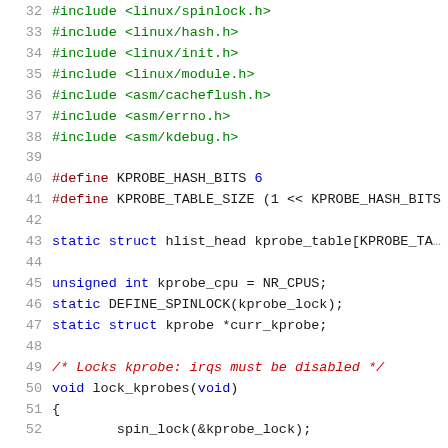32  #include <linux/spinlock.h>
33  #include <linux/hash.h>
34  #include <linux/init.h>
35  #include <linux/module.h>
36  #include <asm/cacheflush.h>
37  #include <asm/errno.h>
38  #include <asm/kdebug.h>
39
40  #define KPROBE_HASH_BITS 6
41  #define KPROBE_TABLE_SIZE (1 << KPROBE_HASH_BITS
42
43  static struct hlist_head kprobe_table[KPROBE_TA
44
45  unsigned int kprobe_cpu = NR_CPUS;
46  static DEFINE_SPINLOCK(kprobe_lock);
47  static struct kprobe *curr_kprobe;
48
49  /* Locks kprobe: irqs must be disabled */
50  void lock_kprobes(void)
51  {
52          spin_lock(&kprobe_lock);